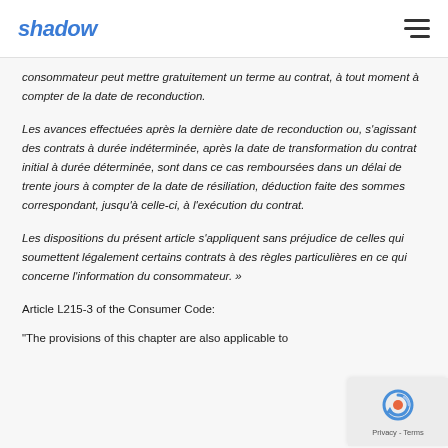shadow
consommateur peut mettre gratuitement un terme au contrat, à tout moment à compter de la date de reconduction.
Les avances effectuées après la dernière date de reconduction ou, s'agissant des contrats à durée indéterminée, après la date de transformation du contrat initial à durée déterminée, sont dans ce cas remboursées dans un délai de trente jours à compter de la date de résiliation, déduction faite des sommes correspondant, jusqu'à celle-ci, à l'exécution du contrat.
Les dispositions du présent article s'appliquent sans préjudice de celles qui soumettent légalement certains contrats à des règles particulières en ce qui concerne l'information du consommateur. »
Article L215-3 of the Consumer Code:
"The provisions of this chapter are also applicable to